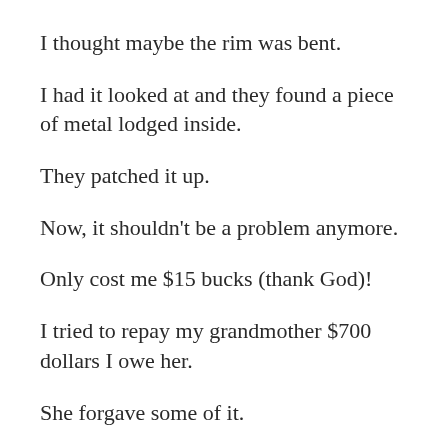I thought maybe the rim was bent.
I had it looked at and they found a piece of metal lodged inside.
They patched it up.
Now, it shouldn't be a problem anymore.
Only cost me $15 bucks (thank God)!
I tried to repay my grandmother $700 dollars I owe her.
She forgave some of it.
My ex forgave the $200 I owed her, too, since I've been helping her relocate and move her